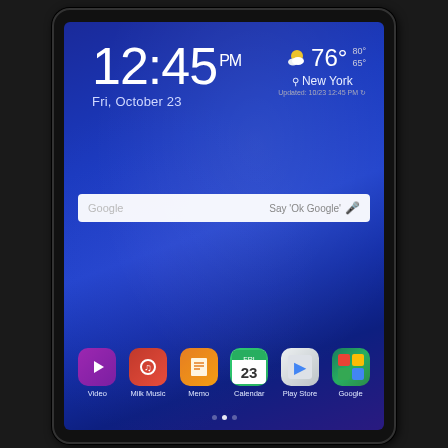[Figure (screenshot): Samsung Android tablet showing lock/home screen with time 12:45 PM, date Fri, October 23, weather widget showing 76° New York, Google search bar, and app icons for Video, Milk Music, Memo, Calendar, Play Store, and Google]